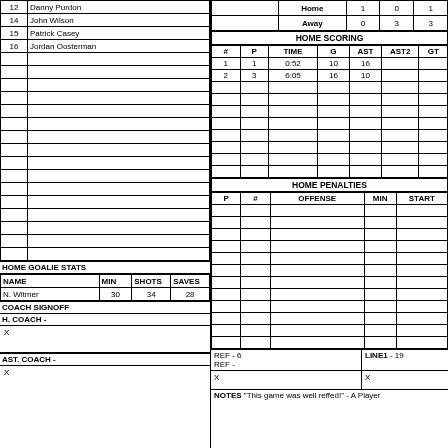| # | NAME |
| --- | --- |
| 12 | Danny Purdon |
| 14 | John Wilson |
| 15 | Patrick Casey |
| 16 | Jordan Oosterman |
|  |  |
|  |  |
|  |  |
|  |  |
|  |  |
|  |  |
|  |  |
|  |  |
|  |  |
|  |  |
|  |  |
|  |  |
|  |  |
|  |  |
|  |  |
|  |  |
| NAME | MIN | SHOTS | SAVES |
| --- | --- | --- | --- |
| N. Witmer | 30 | 34 | 28 |
HOME GOALIE STATS
COACH SIGNOFF
H. COACH -
X
AST. COACH -
X
|  | Home | 1 | 0 | 1 |
| --- | --- | --- | --- | --- |
|  | Away | 0 | 3 | 3 |
HOME SCORING
| # | P | TIME | G | AST | AST2 | GT |
| --- | --- | --- | --- | --- | --- | --- |
| 1 | 1 | 0:52 | 10 | 16 |  |  |
| 2 | 3 | 6:05 | 16 | 10 |  |  |
HOME PENALTIES
| P | # | OFFENSE | MIN | START |
| --- | --- | --- | --- | --- |
REF - 6
REF -
LINE1 - 19
X
X
NOTES "This game was well reffed!" - A Player